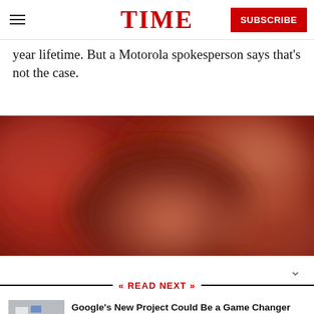TIME | SUBSCRIBE
year lifetime. But a Motorola spokesperson says that's not the case.
[Figure (photo): Blurred reddish-brown abstract background image]
READ NEXT
[Figure (photo): Thumbnail image of modular phone components for Google's Project Ara]
Google's New Project Could Be a Game Changer